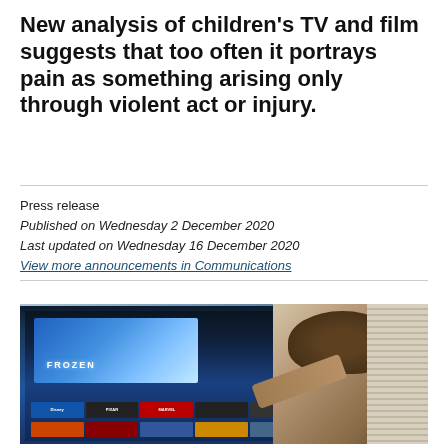New analysis of children's TV and film suggests that too often it portrays pain as something arising only through violent act or injury.
Press release
Published on Wednesday 2 December 2020
Last updated on Wednesday 16 December 2020
View more announcements in Communications
[Figure (photo): A child pointing at a large TV screen showing Disney+ interface with Frozen prominently displayed, along with Disney, Pixar, Marvel channel options. The child is seen from behind.]